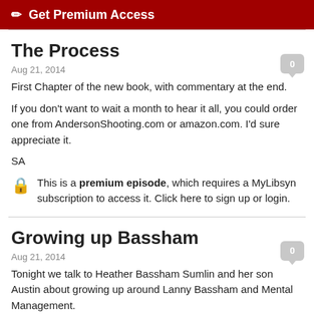Get Premium Access
The Process
Aug 21, 2014
First Chapter of the new book, with commentary at the end.
If you don't want to wait a month to hear it all, you could order one from AndersonShooting.com or amazon.com. I'd sure appreciate it.
SA
This is a premium episode, which requires a MyLibsyn subscription to access it. Click here to sign up or login.
Growing up Bassham
Aug 21, 2014
Tonight we talk to Heather Bassham Sumlin and her son Austin about growing up around Lanny Bassham and Mental Management.
We also get Heather's advice for a Lumberjack who is afraid of heights.
Mentalmanagement.com